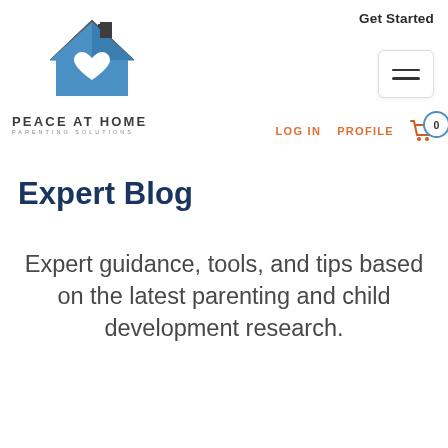[Figure (logo): Peace At Home Parenting Solutions logo — house icon with heart, blue and grey]
Get Started
[Figure (other): Hamburger menu button (three horizontal lines)]
LOG IN   PROFILE   0
Expert Blog
Expert guidance, tools, and tips based on the latest parenting and child development research.